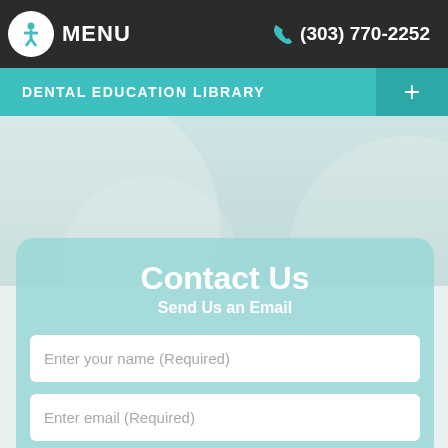MENU  (303) 770-2252
DENTAL EDUCATION LIBRARY
Contact Us
Send Us an Email
Enter your name (Required)
Enter email (Required)